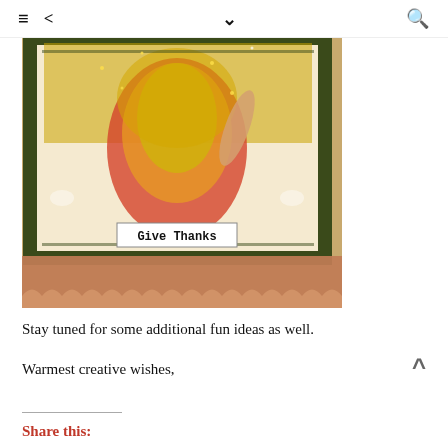≡  <  ˅  🔍
[Figure (photo): A decorative handmade card featuring a vintage-style illustration of a woman in a colorful dress with gold glitter accents, ornate green scroll borders, and a label reading 'Give Thanks'. The lower portion shows a copper/rose gold foil scalloped edge.]
Stay tuned for some additional fun ideas as well.
Warmest creative wishes,
Share this: